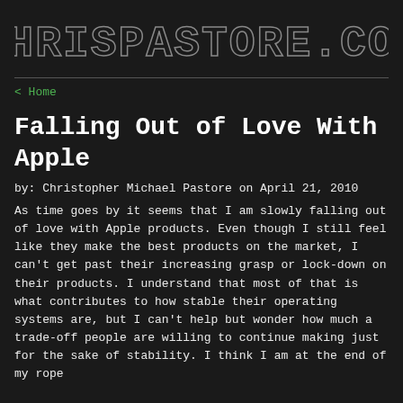CHRISPASTORE.COM
< Home
Falling Out of Love With Apple
by: Christopher Michael Pastore on April 21, 2010
As time goes by it seems that I am slowly falling out of love with Apple products. Even though I still feel like they make the best products on the market, I can't get past their increasing grasp or lock-down on their products. I understand that most of that is what contributes to how stable their operating systems are, but I can't help but wonder how much a trade-off people are willing to continue making just for the sake of stability. I think I am at the end of my rope